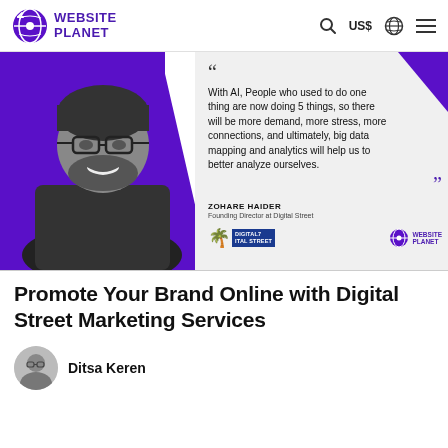WEBSITE PLANET — US$ — navigation header
[Figure (photo): Hero banner with purple background, man with glasses and beard smiling in black and white, quote about AI and big data mapping, attributed to Zohare Haider, Founding Director at Digital Street. Digital Street logo and Website Planet logo at bottom.]
Promote Your Brand Online with Digital Street Marketing Services
Ditsa Keren